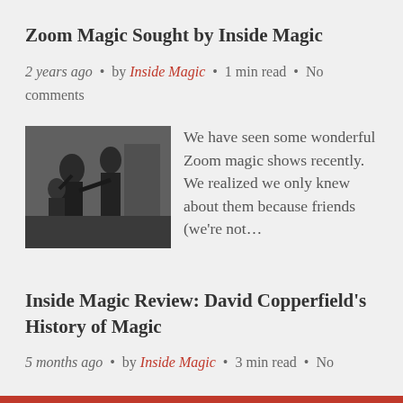Zoom Magic Sought by Inside Magic
2 years ago • by Inside Magic • 1 min read • No comments
[Figure (photo): Black and white vintage photo of people, possibly a magic performance scene]
We have seen some wonderful Zoom magic shows recently. We realized we only knew about them because friends (we're not...
Inside Magic Review: David Copperfield's History of Magic
5 months ago • by Inside Magic • 3 min read • No